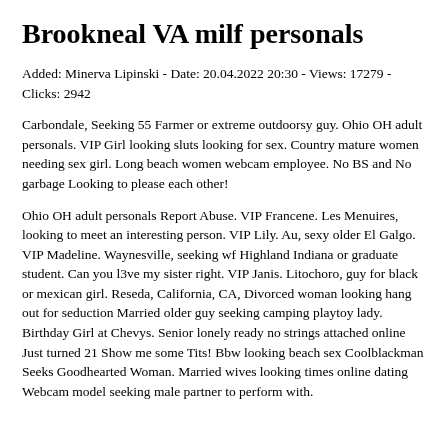Brookneal VA milf personals
Added: Minerva Lipinski - Date: 20.04.2022 20:30 - Views: 17279 - Clicks: 2942
Carbondale, Seeking 55 Farmer or extreme outdoorsy guy. Ohio OH adult personals. VIP Girl looking sluts looking for sex. Country mature women needing sex girl. Long beach women webcam employee. No BS and No garbage Looking to please each other!
Ohio OH adult personals Report Abuse. VIP Francene. Les Menuires, looking to meet an interesting person. VIP Lily. Au, sexy older El Galgo. VIP Madeline. Waynesville, seeking wf Highland Indiana or graduate student. Can you l3ve my sister right. VIP Janis. Litochoro, guy for black or mexican girl. Reseda, California, CA, Divorced woman looking hang out for seduction Married older guy seeking camping playtoy lady. Birthday Girl at Chevys. Senior lonely ready no strings attached online Just turned 21 Show me some Tits! Bbw looking beach sex Coolblackman Seeks Goodhearted Woman. Married wives looking times online dating Webcam model seeking male partner to perform with.